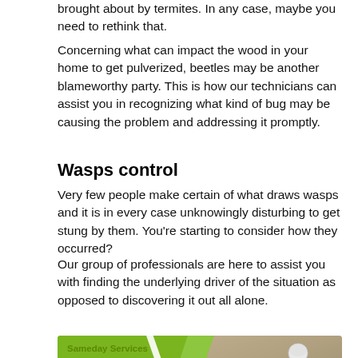brought about by termites. In any case, maybe you need to rethink that.
Concerning what can impact the wood in your home to get pulverized, beetles may be another blameworthy party. This is how our technicians can assist you in recognizing what kind of bug may be causing the problem and addressing it promptly.
Wasps control
Very few people make certain of what draws wasps and it is in every case unknowingly disturbing to get stung by them. You're starting to consider how they occurred?
Our group of professionals are here to assist you with finding the underlying driver of the situation as opposed to discovering it out all alone.
[Figure (photo): Pest control advertisement image showing a pest control technician in white protective suit kneeling outdoors. Green background with white chevron stripe on the left side. Text reads 'Sameday Services', 'Pest Control Services', and shows the 'Pest Masters Pest Control Services' logo. Bottom right shows 'Licensed technicians' tag.]